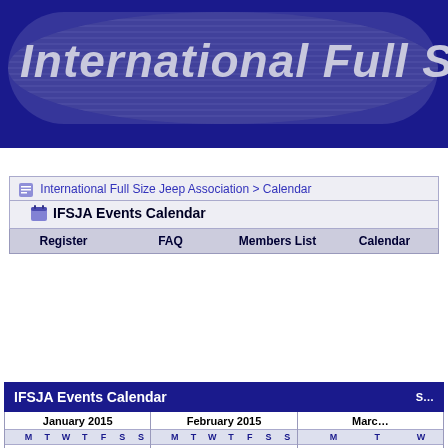[Figure (screenshot): International Full Size Jeep Association website header banner with dark blue background and italic bold title text]
International Full Size Jeep Association > Calendar
IFSJA Events Calendar
Register   FAQ   Members List   Calendar
IFSJA Events Calendar
|  | M | T | W | T | F | S | S |
| --- | --- | --- | --- | --- | --- | --- | --- |
| > | 29 | 30 | 31 | 1 | 2 | 3 | 4 |
| > | 5 | 6 | 7 | 8 | 9 | 10 | 11 |
|  | M | T | W | T | F | S | S |
| --- | --- | --- | --- | --- | --- | --- | --- |
| > | 26 | 27 | 28 | 29 | 30 | 31 | 1 |
| > | 2 | 3 | 4 | 5 | 6 | 7 | 8 |
|  | M | T | W |
| --- | --- | --- | --- |
| > | 23 | 24 | 25 |
| > | 2 | 3 | 4 |